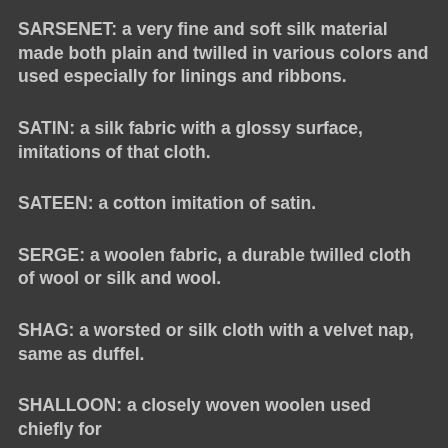SARSENET: a very fine and soft silk material made both plain and twilled in various colors and used especially for linings and ribbons.
SATIN: a silk fabric with a glossy surface, imitations of that cloth.
SATEEN: a cotton imitation of satin.
SERGE: a woolen fabric, a durable twilled cloth of wool or silk and wool.
SHAG: a worsted or silk cloth with a velvet nap, same as duffel.
SHALLOON: a closely woven woolen used chiefly for